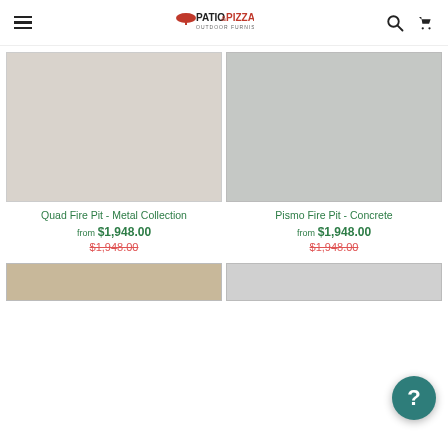Patio & Pizza Outdoor Furnishings
[Figure (photo): Product image placeholder - light beige/gray square for Quad Fire Pit - Metal Collection]
Quad Fire Pit - Metal Collection
from $1,948.00
$1,948.00
[Figure (photo): Product image placeholder - gray square for Pismo Fire Pit - Concrete]
Pismo Fire Pit - Concrete
from $1,948.00
$1,948.00
[Figure (photo): Partial product image at bottom left - beige/tan]
[Figure (photo): Partial product image at bottom right - light gray]